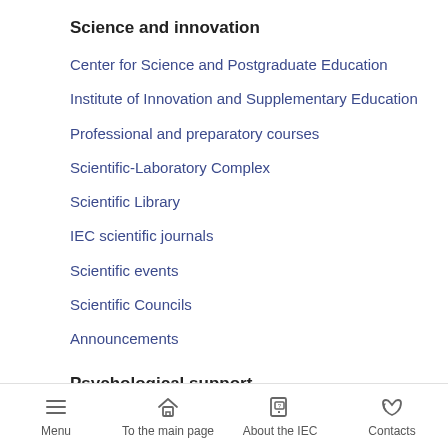Science and innovation
Center for Science and Postgraduate Education
Institute of Innovation and Supplementary Education
Professional and preparatory courses
Scientific-Laboratory Complex
Scientific Library
IEC scientific journals
Scientific events
Scientific Councils
Announcements
Psychological support
Rector's blog
Menu | To the main page | About the IEC | Contacts